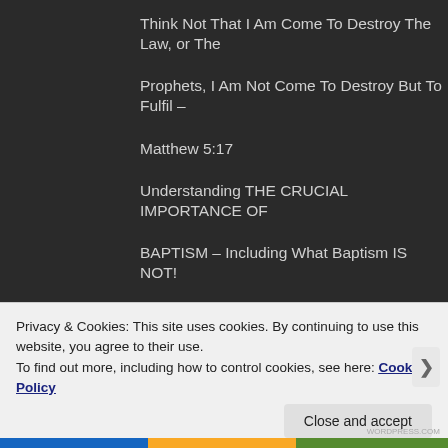Think Not That I Am Come To Destroy The Law, or The
Prophets, I Am Not Come To Destroy But To Fulfil –
Matthew 5:17
Understanding THE CRUCIAL IMPORTANCE OF
BAPTISM – Including What Baptism IS NOT!
UNRAVELLING THE PASTORAL EPISTLES – 1 TIMOTHY
1 & 2 – Parts 1, 2, 3, 4 & 5
Unravelling The Satanic Rapture Deception – Parts 1 and
Privacy & Cookies: This site uses cookies. By continuing to use this website, you agree to their use.
To find out more, including how to control cookies, see here: Cookie Policy
Close and accept